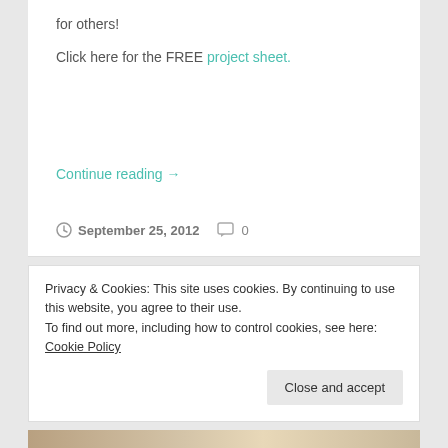for others!
Click here for the FREE project sheet.
Continue reading →
September 25, 2012   0
Privacy & Cookies: This site uses cookies. By continuing to use this website, you agree to their use.
To find out more, including how to control cookies, see here: Cookie Policy
Close and accept
[Figure (photo): Partial image strip visible at the bottom of the page showing what appears to be a person or figures.]